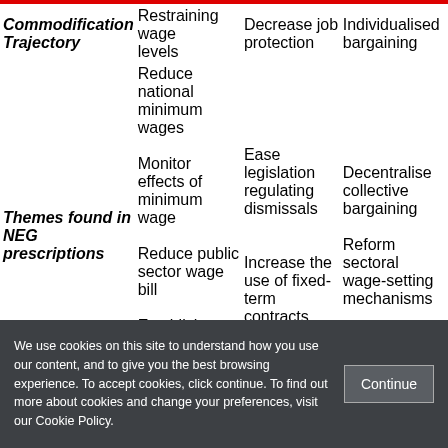| Commodification Trajectory | Restraining wage levels | Decrease job protection | Individualised bargaining |
| --- | --- | --- | --- |
| Themes found in NEG prescriptions | Reduce national minimum wages
Monitor effects of minimum wage
Reduce public sector wage bill
Establish transparent minimum wage setting mechanism | Ease legislation regulating dismissals
Increase the use of fixed-term contracts | Decentralise collective bargaining
Reform sectoral wage-setting mechanisms |
Source: Our Analysis of Council Recommendations on National Reform Programmes (2009-19) including the MoUs quoted in
We use cookies on this site to understand how you use our content, and to give you the best browsing experience. To accept cookies, click continue. To find out more about cookies and change your preferences, visit our Cookie Policy.